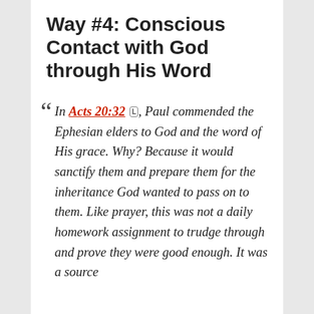Way #4: Conscious Contact with God through His Word
In Acts 20:32, Paul commended the Ephesian elders to God and the word of His grace. Why? Because it would sanctify them and prepare them for the inheritance God wanted to pass on to them. Like prayer, this was not a daily homework assignment to trudge through and prove they were good enough. It was a source